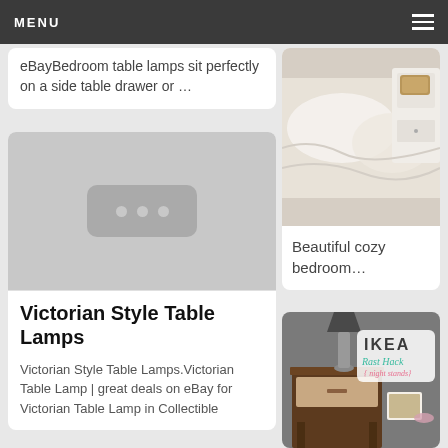MENU
eBayBedroom table lamps sit perfectly on a side table drawer or …
[Figure (photo): Placeholder image with three dots icon on grey background]
Victorian Style Table Lamps
Victorian Style Table Lamps.Victorian Table Lamp | great deals on eBay for Victorian Table Lamp in Collectible
[Figure (photo): Cozy bedroom with white bedding and white nightstand with basket]
Beautiful cozy bedroom…
[Figure (photo): IKEA Rast Hack night stands with dark lamp on wooden nightstand]